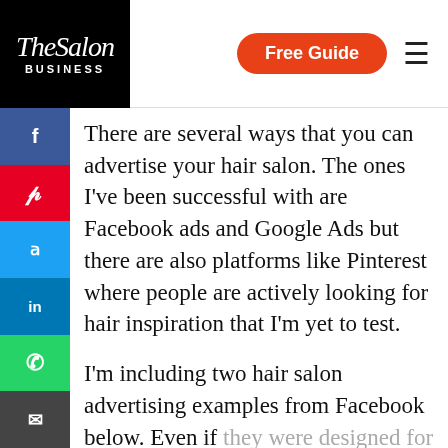The Salon Business | Free Guide
There are several ways that you can advertise your hair salon. The ones I've been successful with are Facebook ads and Google Ads but there are also platforms like Pinterest where people are actively looking for hair inspiration that I'm yet to test.
I'm including two hair salon advertising examples from Facebook below. Even if they were designed for Facebook, there